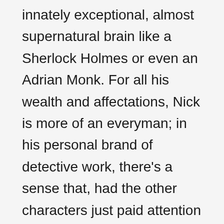innately exceptional, almost supernatural brain like a Sherlock Holmes or even an Adrian Monk. For all his wealth and affectations, Nick is more of an everyman; in his personal brand of detective work, there's a sense that, had the other characters just paid attention a bit more, or connected a few more dots, they could have come to the same conclusion. Nick's ability as a detective doesn't depend on a great wealth of background knowledge on history, or classics, or biology, or economics—like Powell's previous detective character, Philo Vance. Nick's style is much more observational, dependent on paying attention rather than book learning or a super genius intellect. For a country that was just